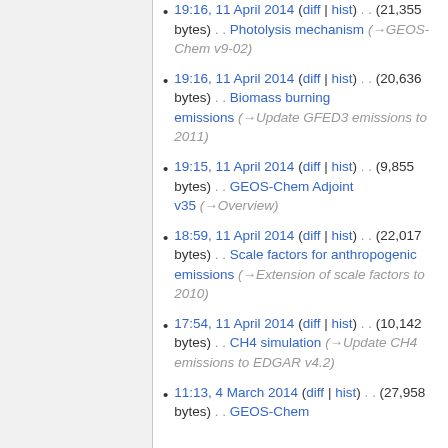19:16, 11 April 2014 (diff | hist) . . (21,355 bytes) . . Photolysis mechanism (→GEOS-Chem v9-02)
19:16, 11 April 2014 (diff | hist) . . (20,636 bytes) . . Biomass burning emissions (→Update GFED3 emissions to 2011)
19:15, 11 April 2014 (diff | hist) . . (9,855 bytes) . . GEOS-Chem Adjoint v35 (→Overview)
18:59, 11 April 2014 (diff | hist) . . (22,017 bytes) . . Scale factors for anthropogenic emissions (→Extension of scale factors to 2010)
17:54, 11 April 2014 (diff | hist) . . (10,142 bytes) . . CH4 simulation (→Update CH4 emissions to EDGAR v4.2)
11:13, 4 March 2014 (diff | hist) . . (27,958 bytes) . . GEOS-Chem